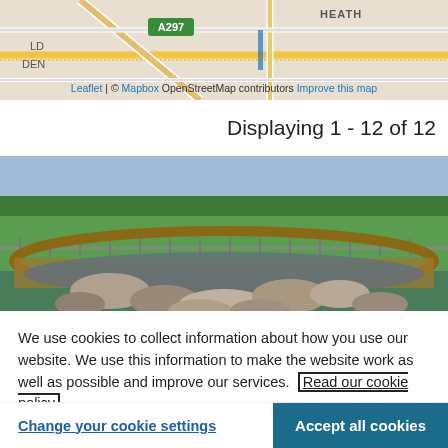[Figure (map): Street map showing area with A297 road marker, labels LD and DEN visible, HEATH area shown at top. Map attribution: Leaflet | © Mapbox OpenStreetMap contributors Improve this map]
Displaying 1 - 12 of 12
[Figure (photo): Photograph of a circular pond or water feature with large rocks/boulders inside, surrounded by a wooden deck railing, with a green park and trees visible in the background]
We use cookies to collect information about how you use our website. We use this information to make the website work as well as possible and improve our services.  Read our cookie policy
Change your cookie settings
Accept all cookies